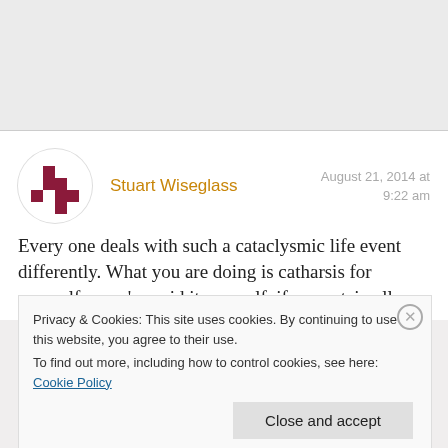[Figure (other): Gray header/banner area at top of webpage]
[Figure (photo): User avatar: circular profile image with red/maroon cross-like puzzle piece pattern on white background for Stuart Wiseglass]
Stuart Wiseglass
August 21, 2014 at
9:22 am
Every one deals with such a cataclysmic life event differently. What you are doing is catharsis for yourself – you've said it yourself, if you retain all
Privacy & Cookies: This site uses cookies. By continuing to use this website, you agree to their use.
To find out more, including how to control cookies, see here: Cookie Policy
Close and accept